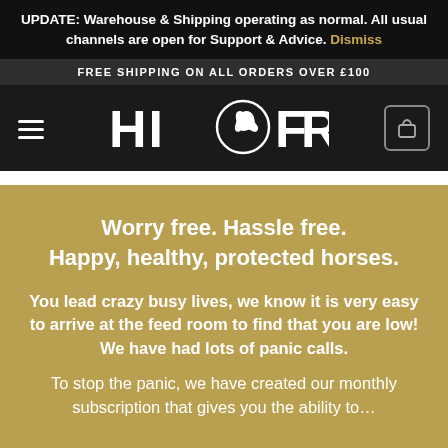UPDATE: Warehouse & Shipping operating as normal. All usual channels are open for Support & Advice. Dismiss
FREE SHIPPING ON ALL ORDERS OVER £100
[Figure (logo): Hi Form equestrian brand logo with horse head inside letter O, white text on dark background, hamburger menu icon on left, shopping bag icon on right]
Worry free. Hassle free. Happy, healthy, protected horses.
You lead crazy busy lives, we know it is very easy to arrive at the feed room to find that you are low! We have had lots of panic calls.
To stop the panic, we have created our monthly subscription that gives you the ability to…